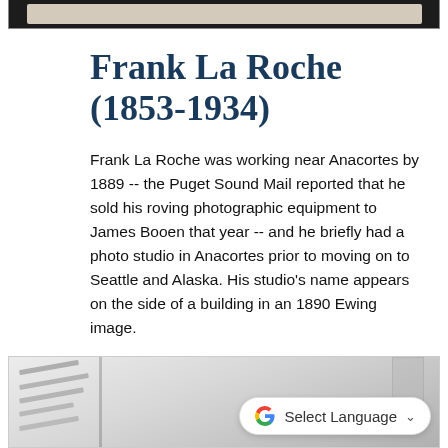[Figure (photo): Top portion of a photograph visible as a strip at the top of the page, showing a light-colored object against a dark border/frame.]
Frank La Roche (1853-1934)
Frank La Roche was working near Anacortes by 1889 -- the Puget Sound Mail reported that he sold his roving photographic equipment to James Booen that year -- and he briefly had a photo studio in Anacortes prior to moving on to Seattle and Alaska. His studio's name appears on the side of a building in an 1890 Ewing image.
[Figure (photo): Bottom portion of a black and white photograph showing partial view of a building or structure with diagonal lines, partially visible at the bottom of the page.]